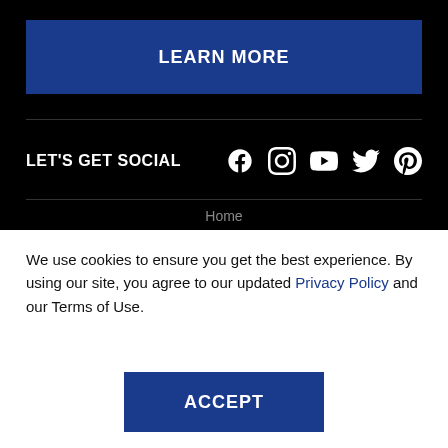LEARN MORE
LET'S GET SOCIAL
[Figure (infographic): Social media icons: Facebook, Instagram, YouTube, Twitter, Pinterest]
Home
We use cookies to ensure you get the best experience. By using our site, you agree to our updated Privacy Policy and our Terms of Use.
ACCEPT